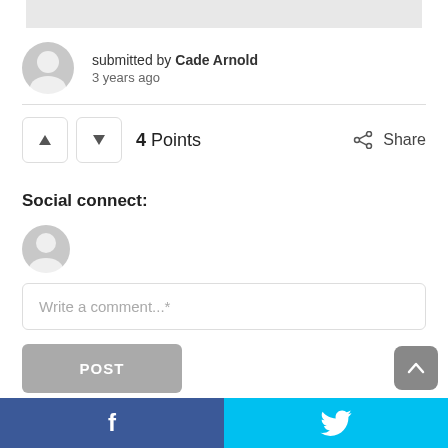[Figure (screenshot): Top grey bar, partial content]
submitted by Cade Arnold
3 years ago
4 Points
Share
Social connect:
Write a comment...*
POST
f  (Facebook)    (Twitter bird)